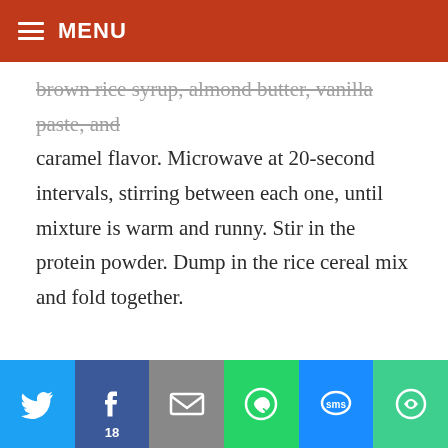MENU
brown rice syrup, almond butter, vanilla paste, and caramel flavor. Microwave at 20-second intervals, stirring between each one, until mixture is warm and runny. Stir in the protein powder. Dump in the rice cereal mix and fold together.